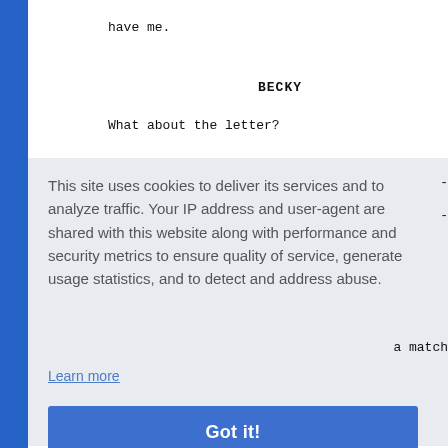have me.
BECKY
What about the letter?
This site uses cookies to deliver its services and to analyze traffic. Your IP address and user-agent are shared with this website along with performance and security metrics to ensure quality of service, generate usage statistics, and to detect and address abuse.
Learn more
Got it!
a match
And pull back to reveal: